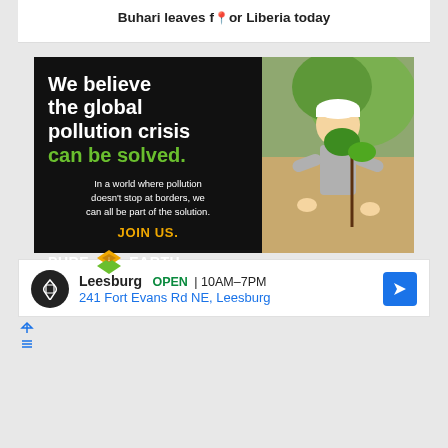Buhari leaves for Liberia today
[Figure (infographic): Pure Earth advertisement. Black background on left side with bold white text: 'We believe the global pollution crisis can be solved.' in green. Subtext: 'In a world where pollution doesn't stop at borders, we can all be part of the solution.' JOIN US. in orange. Pure Earth logo at bottom. Right side shows photo of man in hard hat planting a tree.]
[Figure (infographic): Google Maps advertisement for Leesburg store. Black circular icon, store name 'Leesburg', OPEN in green, 10AM-7PM, address 241 Fort Evans Rd NE, Leesburg. Blue navigation arrow icon on right.]